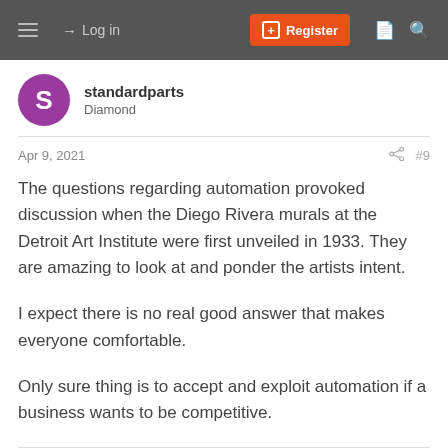Log in | Register
standardparts
Diamond
Apr 9, 2021  #9
The questions regarding automation provoked discussion when the Diego Rivera murals at the Detroit Art Institute were first unveiled in 1933. They are amazing to look at and ponder the artists intent.

I expect there is no real good answer that makes everyone comfortable.

Only sure thing is to accept and exploit automation if a business wants to be competitive.